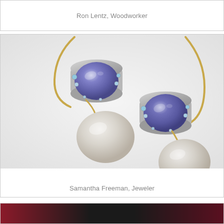Ron Lentz, Woodworker
[Figure (photo): Close-up photograph of a pair of earrings featuring blue-purple oval gemstones set in silver bezels with small accent stones, hanging from gold wire hooks with pearl drops]
Samantha Freeman, Jeweler
[Figure (photo): Partial view of a dark background with red/pink beaded jewelry items visible at bottom of page]